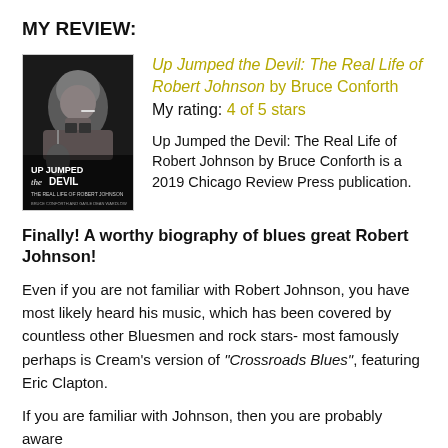MY REVIEW:
[Figure (photo): Book cover of 'Up Jumped the Devil: The Real Life of Robert Johnson' showing a black and white portrait of Robert Johnson with a cigarette in his mouth and a guitar, with the book title overlaid.]
Up Jumped the Devil: The Real Life of Robert Johnson by Bruce Conforth
My rating: 4 of 5 stars

Up Jumped the Devil: The Real Life of Robert Johnson by Bruce Conforth is a 2019 Chicago Review Press publication.
Finally! A worthy biography of blues great Robert Johnson!
Even if you are not familiar with Robert Johnson, you have most likely heard his music, which has been covered by countless other Bluesmen and rock stars- most famously perhaps is Cream's version of "Crossroads Blues", featuring Eric Clapton.
If you are familiar with Johnson, then you are probably aware of the r...